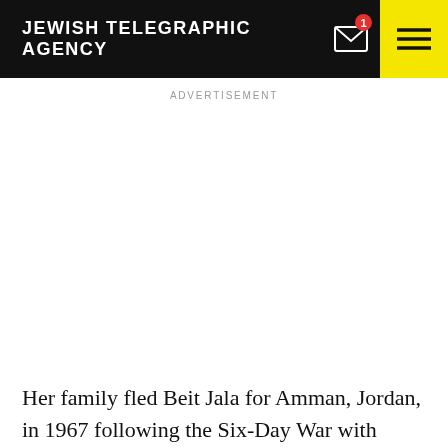JEWISH TELEGRAPHIC AGENCY
ADVERTISEMENT
Her family fled Beit Jala for Amman, Jordan, in 1967 following the Six-Day War with Israel. Her father